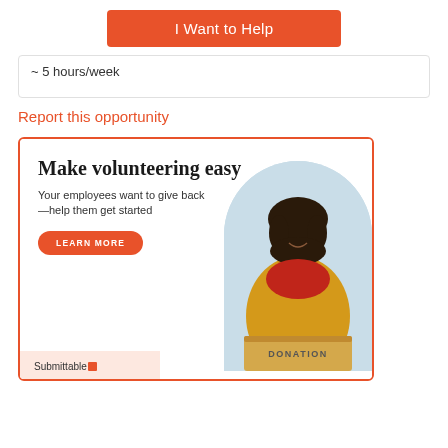I Want to Help
~ 5 hours/week
Report this opportunity
[Figure (infographic): Submittable advertisement banner: 'Make volunteering easy' with subtitle 'Your employees want to give back —help them get started', a LEARN MORE button, decorative dots, a photo of a woman with a donation box, and Submittable logo at bottom left.]